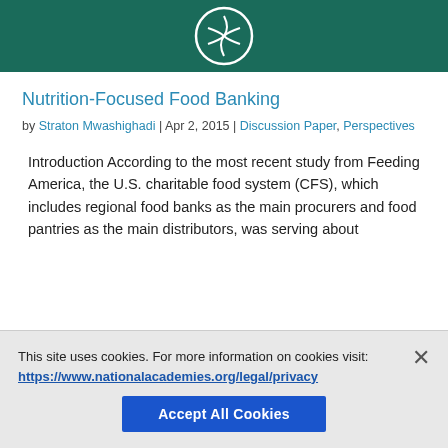[Figure (logo): Dark teal/green header image with a white circular logo or emblem centered on it]
Nutrition-Focused Food Banking
by Straton Mwashighadi | Apr 2, 2015 | Discussion Paper, Perspectives
Introduction According to the most recent study from Feeding America, the U.S. charitable food system (CFS), which includes regional food banks as the main procurers and food pantries as the main distributors, was serving about
This site uses cookies. For more information on cookies visit: https://www.nationalacademies.org/legal/privacy
Accept All Cookies